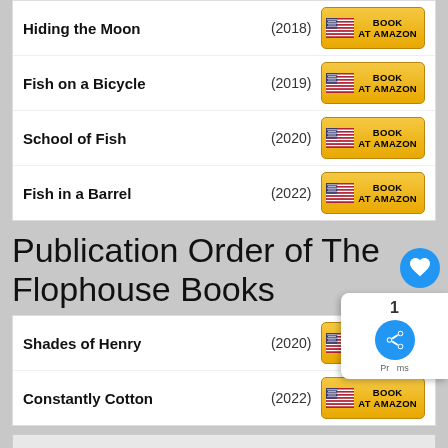| Title | Year | Link |
| --- | --- | --- |
| Hiding the Moon | (2018) | BOOK AT AMAZON |
| Fish on a Bicycle | (2019) | BOOK AT AMAZON |
| School of Fish | (2020) | BOOK AT AMAZON |
| Fish in a Barrel | (2022) | BOOK AT AMAZON |
Publication Order of The Flophouse Books
| Title | Year | Link |
| --- | --- | --- |
| Shades of Henry | (2020) | BOOK AT AMAZON |
| Constantly Cotton | (2022) | BOOK AT AMAZON |